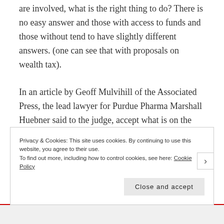are involved, what is the right thing to do? There is no easy answer and those with access to funds and those without tend to have slightly different answers. (one can see that with proposals on wealth tax).
In an article by Geoff Mulvihill of the Associated Press, the lead lawyer for Purdue Pharma Marshall Huebner said to the judge, accept what is on the table, it is reasonable or fair or be prepared to face decades of law suits which could last decades before any money is paid to victims.
Privacy & Cookies: This site uses cookies. By continuing to use this website, you agree to their use. To find out more, including how to control cookies, see here: Cookie Policy
Close and accept